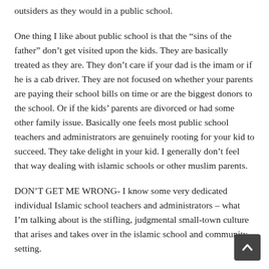outsiders as they would in a public school.
One thing I like about public school is that the “sins of the father” don’t get visited upon the kids. They are basically treated as they are. They don’t care if your dad is the imam or if he is a cab driver. They are not focused on whether your parents are paying their school bills on time or are the biggest donors to the school. Or if the kids’ parents are divorced or had some other family issue. Basically one feels most public school teachers and administrators are genuinely rooting for your kid to succeed. They take delight in your kid. I generally don’t feel that way dealing with islamic schools or other muslim parents.
DON’T GET ME WRONG- I know some very dedicated individual Islamic school teachers and administrators – what I’m talking about is the stifling, judgmental small-town culture that arises and takes over in the islamic school and community setting.